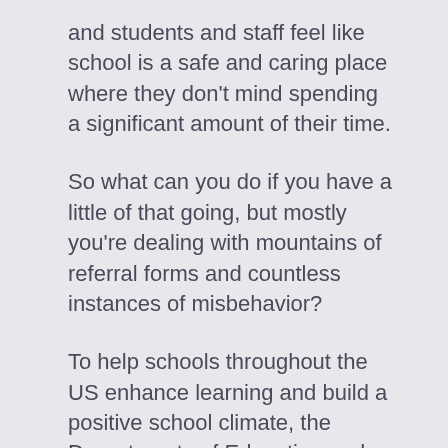and students and staff feel like school is a safe and caring place where they don't mind spending a significant amount of their time.
So what can you do if you have a little of that going, but mostly you're dealing with mountains of referral forms and countless instances of misbehavior?
To help schools throughout the US enhance learning and build a positive school climate, the Departments of Education and Justice have released a set of guiding_principles [PDF] on school climate and discipline. Designed to help educators, school leaders, parents, and communities keep kids in school and focused